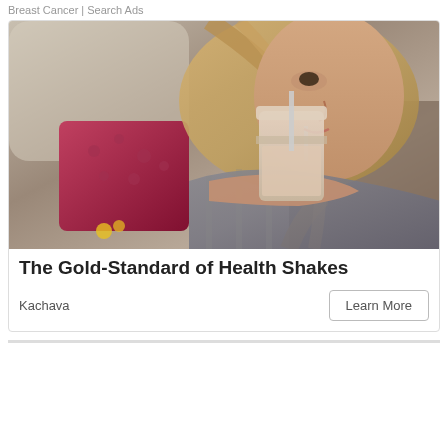Breast Cancer | Search Ads
[Figure (photo): Woman with long blonde hair drinking a health shake from a mason jar with a straw, lying on a couch with colorful pillows in the background]
The Gold-Standard of Health Shakes
Kachava
Learn More